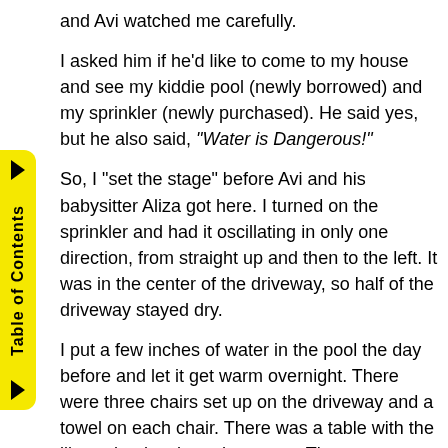and Avi watched me carefully.
I asked him if he'd like to come to my house and see my kiddie pool (newly borrowed) and my sprinkler (newly purchased). He said yes, but he also said, "Water is Dangerous!"
So, I "set the stage" before Avi and his babysitter Aliza got here. I turned on the sprinkler and had it oscillating in only one direction, from straight up and then to the left. It was in the center of the driveway, so half of the driveway stayed dry.
I put a few inches of water in the pool the day before and let it get warm overnight. There were three chairs set up on the driveway and a towel on each chair. There was a table with the library books about the ocean. There was a bowl with a few jelly beans (as a bribe!) on the table.